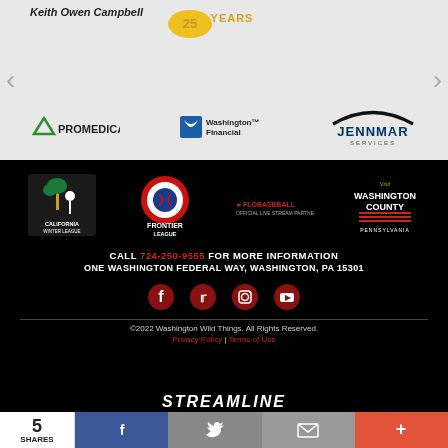[Figure (logo): Top sponsor carousel with ProMedica, Washington Financial, and Jennmar Services logos. Navigation arrows on left and right. 'Keith Owen Campbell' text at top left. 25 Years badge at top center.]
[Figure (logo): Footer partner logos: California Winter League, Frontier League Professional Baseball, FloBaseball Official Live Stream Partner, Visit Washington County Pennsylvania]
CALL 724-250-9555 FOR MORE INFORMATION
ONE WASHINGTON FEDERAL WAY, WASHINGTON, PA 15301
[Figure (infographic): Social media icons: Facebook, Twitter, Instagram, YouTube - dark red color on black background]
©2022 Washington Wild Things. All Rights Reserved.
Privacy Policy | Terms of Use
[Figure (logo): Streamline logo in white italic text on black background]
5 SHARES
[Figure (infographic): Social share bar: count (5 SHARES), Facebook share button, Twitter share button, Email share button, More (+) button]